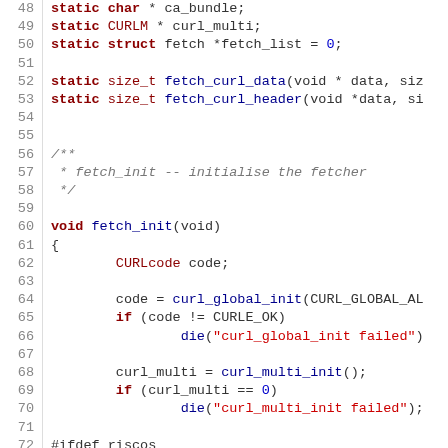[Figure (screenshot): Source code listing in C, lines 48–77, showing static variable declarations, function prototypes, and the fetch_init function body with curl initialization and #ifdef riscos block.]